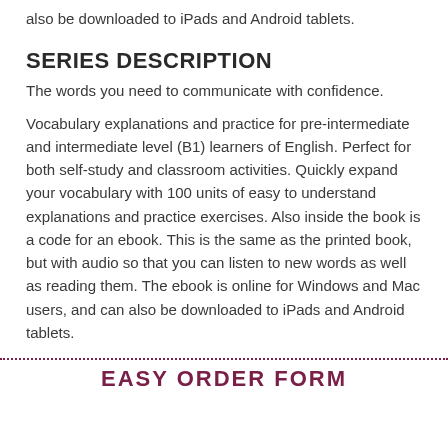also be downloaded to iPads and Android tablets.
SERIES DESCRIPTION
The words you need to communicate with confidence.
Vocabulary explanations and practice for pre-intermediate and intermediate level (B1) learners of English. Perfect for both self-study and classroom activities. Quickly expand your vocabulary with 100 units of easy to understand explanations and practice exercises. Also inside the book is a code for an ebook. This is the same as the printed book, but with audio so that you can listen to new words as well as reading them. The ebook is online for Windows and Mac users, and can also be downloaded to iPads and Android tablets.
EASY ORDER FORM